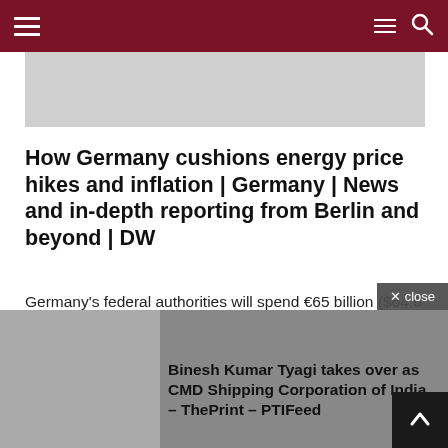Navigation bar with hamburger menu, lines icon, and search icon
[Figure (photo): Gray placeholder image banner]
How Germany cushions energy price hikes and inflation | Germany | News and in-depth reporting from Berlin and beyond | DW
Germany’s federal authorities will spend €65 billion ($64.6 billion) in reduction measures to assist the inhabitants climate the present vitality disaster and inflation. “I’m more than happy with the consequence,”...
[Figure (photo): Gray thumbnail image in bottom section]
Binesh Kumar Tyagi takes over as CMD Shipping Corporation of India – ThePrint – PTIFeed